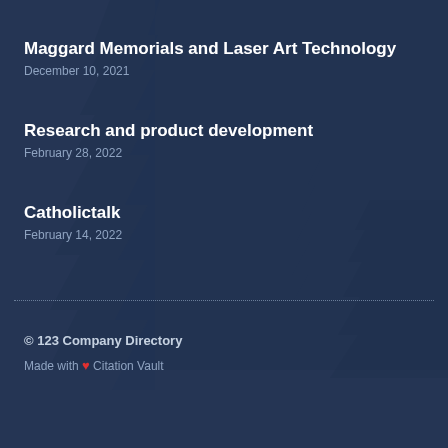Maggard Memorials and Laser Art Technology
December 10, 2021
Research and product development
February 28, 2022
Catholictalk
February 14, 2022
© 123 Company Directory
Made with ❤ Citation Vault